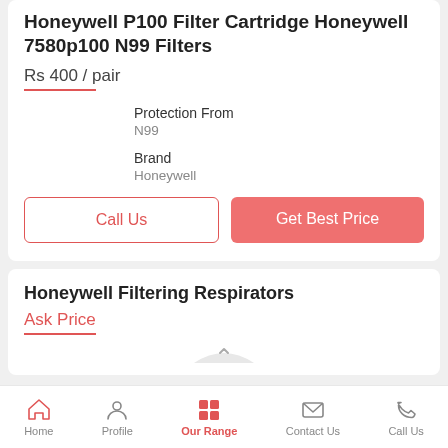Honeywell P100 Filter Cartridge Honeywell 7580p100 N99 Filters
Rs 400 / pair
Protection From
N99
Brand
Honeywell
Call Us
Get Best Price
Honeywell Filtering Respirators
Ask Price
Home  Profile  Our Range  Contact Us  Call Us